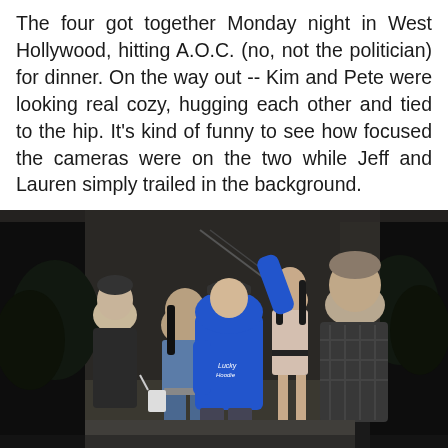The four got together Monday night in West Hollywood, hitting A.O.C. (no, not the politician) for dinner. On the way out -- Kim and Pete were looking real cozy, hugging each other and tied to the hip. It's kind of funny to see how focused the cameras were on the two while Jeff and Lauren simply trailed in the background.
[Figure (photo): A group of four people walking outside at night. In the foreground, a woman wearing denim outfit and sunglasses walks beside a tall man in a bright blue hoodie. To the right, a man in a dark plaid shirt walks in front. In the background, a woman in a beige dress and another man are visible. The scene appears to be outside a restaurant.]